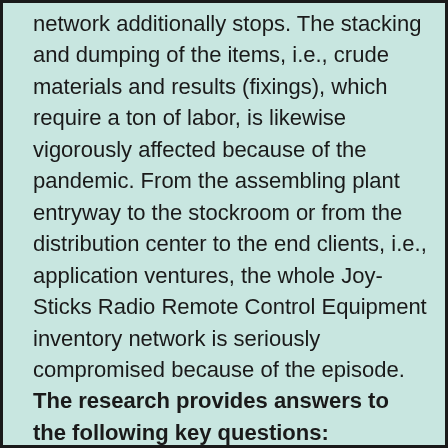network additionally stops. The stacking and dumping of the items, i.e., crude materials and results (fixings), which require a ton of labor, is likewise vigorously affected because of the pandemic. From the assembling plant entryway to the stockroom or from the distribution center to the end clients, i.e., application ventures, the whole Joy-Sticks Radio Remote Control Equipment inventory network is seriously compromised because of the episode. The research provides answers to the following key questions: